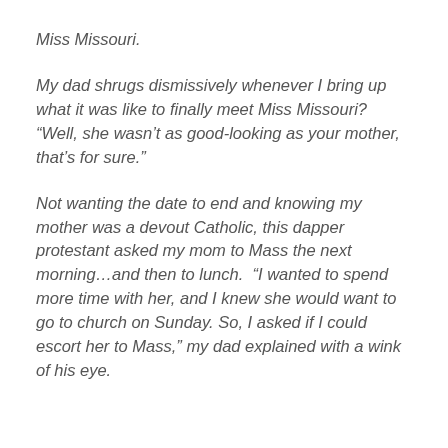Miss Missouri.
My dad shrugs dismissively whenever I bring up what it was like to finally meet Miss Missouri? “Well, she wasn’t as good-looking as your mother, that’s for sure.”
Not wanting the date to end and knowing my mother was a devout Catholic, this dapper protestant asked my mom to Mass the next morning…and then to lunch. “I wanted to spend more time with her, and I knew she would want to go to church on Sunday. So, I asked if I could escort her to Mass,” my dad explained with a wink of his eye.